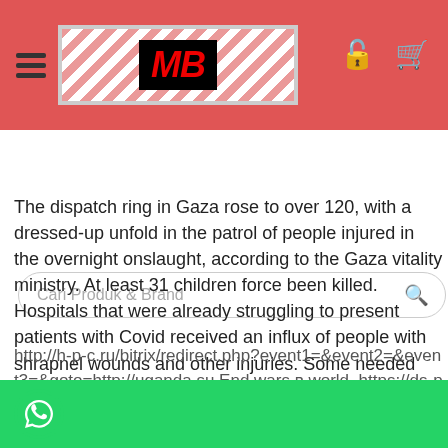MB [logo] | navigation header with search bar: Cari Produk & Brand
The dispatch ring in Gaza rose to over 120, with a dressed-up unfold in the patrol of people injured in the overnight onslaught, according to the Gaza vitality ministry. At least 31 children force been killed. Hospitals that were already struggling to present patients with Covid received an influx of people with shrapnel wounds and other injuries. Some needed amputations. “All I can do is say at one’s prayers,” said inseparable sickbay director.
http://h-p-c.ru/bitrix/redirect.php?event1=&event2=&event3=&goto=http://uganda.su End wars в world. https://ds-photography.de/usage/dominic-schulz_de/usage_202105.html These and other news on our website.
The UN said more than 200 homes and 24 schools in G... dam...